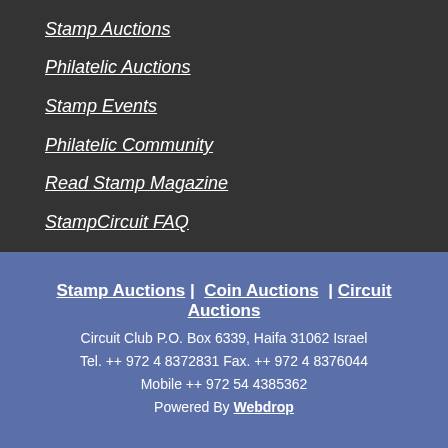Stamp Auctions
Philatelic Auctions
Stamp Events
Philatelic Community
Read Stamp Magazine
StampCircuit FAQ
Stamp Auctions | Coin Auctions | Circuit Auctions
Circuit Club P.O. Box 6339, Haifa 31062 Israel
Tel. ++ 972 4 8372831 Fax. ++ 972 4 8376044
Mobile ++ 972 54 4385362
Powered By Webdrop